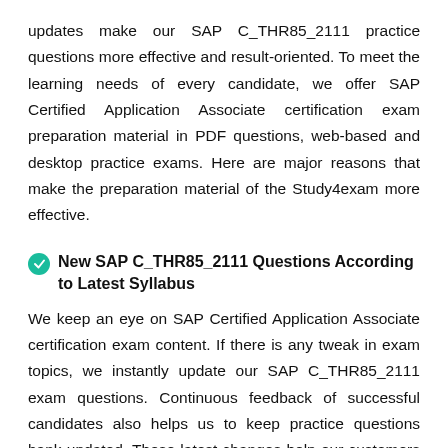updates make our SAP C_THR85_2111 practice questions more effective and result-oriented. To meet the learning needs of every candidate, we offer SAP Certified Application Associate certification exam preparation material in PDF questions, web-based and desktop practice exams. Here are major reasons that make the preparation material of the Study4exam more effective.
New SAP C_THR85_2111 Questions According to Latest Syllabus
We keep an eye on SAP Certified Application Associate certification exam content. If there is any tweak in exam topics, we instantly update our SAP C_THR85_2111 exam questions. Continuous feedback of successful candidates also helps us to keep practice questions bank updated. These latest changes help our customers to prepare forth...